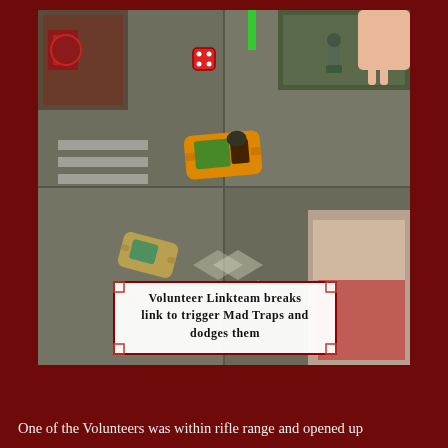[Figure (photo): Overhead photo of a tabletop miniature wargame scene showing miniature vehicles (orange and gold/tan cars) and game pieces on a sci-fi street game board with directional arrows and crosswalk markings. Buildings and terrain pieces visible at edges. A red die visible in upper left area. A white caption box overlay reads 'Volunteer Linkteam breaks link to trigger Mad Traps and dodges them'.]
Volunteer Linkteam breaks link to trigger Mad Traps and dodges them
One of the Volunteers was within rifle range and opened up